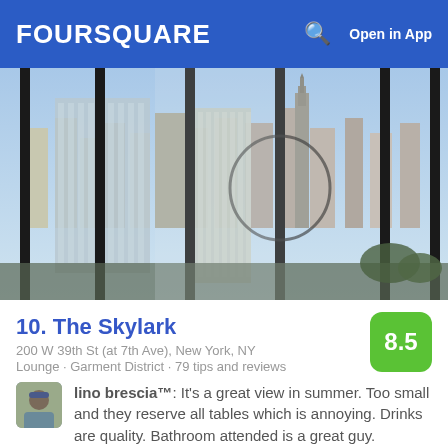FOURSQUARE    Open in App
[Figure (photo): Panoramic rooftop view of New York City skyline with skyscrapers including Empire State Building, viewed through glass barriers with vertical black poles]
10. The Skylark
200 W 39th St (at 7th Ave), New York, NY
Lounge · Garment District · 79 tips and reviews
lino brescia™: It's a great view in summer. Too small and they reserve all tables which is annoying. Drinks are quality. Bathroom attended is a great guy.